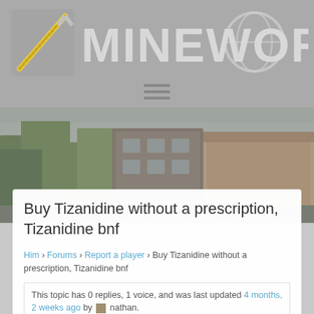[Figure (logo): Mineworlds logo with pickaxe/sword icon and large MINEWORLDS text in white on grey background]
[Figure (photo): Outdoor photo showing green trees and a building with brick/tan exterior]
Buy Tizanidine without a prescription, Tizanidine bnf
Him › Forums › Report a player › Buy Tizanidine without a prescription, Tizanidine bnf
This topic has 0 replies, 1 voice, and was last updated 4 months, 2 weeks ago by nathan.
Viewing 1 post (of 1 total)